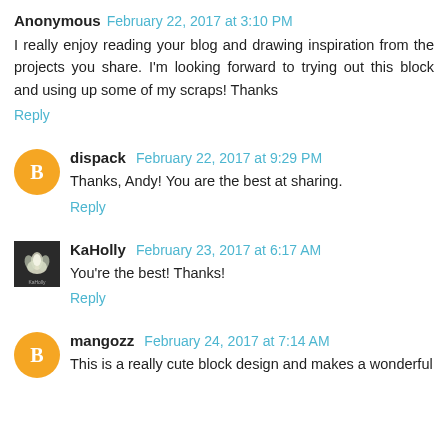Anonymous February 22, 2017 at 3:10 PM
I really enjoy reading your blog and drawing inspiration from the projects you share. I'm looking forward to trying out this block and using up some of my scraps! Thanks
Reply
dispack February 22, 2017 at 9:29 PM
Thanks, Andy! You are the best at sharing.
Reply
KaHolly February 23, 2017 at 6:17 AM
You're the best! Thanks!
Reply
mangozz February 24, 2017 at 7:14 AM
This is a really cute block design and makes a wonderful